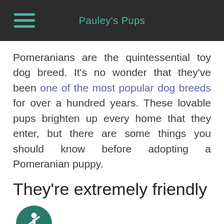Pauley's Pups
Pomeranians are the quintessential toy dog breed. It’s no wonder that they’ve been one of the most popular dog breeds for over a hundred years. These lovable pups brighten up every home that they enter, but there are some things you should know before adopting a Pomeranian puppy.
They’re extremely friendly
[Figure (illustration): Accessibility icon: a circular dark teal badge with a person figure (accessibility symbol) in white]